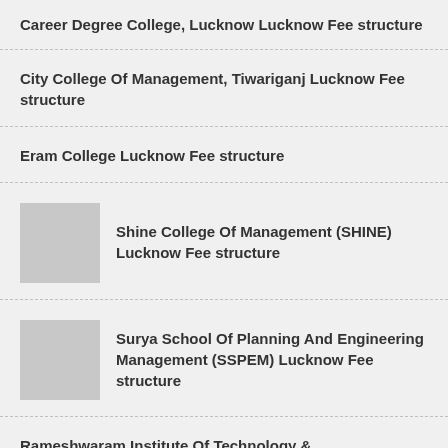Career Degree College, Lucknow Lucknow Fee structure
City College Of Management, Tiwariganj Lucknow Fee structure
Eram College Lucknow Fee structure
Shine College Of Management (SHINE) Lucknow Fee structure
Surya School Of Planning And Engineering Management (SSPEM) Lucknow Fee structure
Rameshwaram Institute Of Technology &